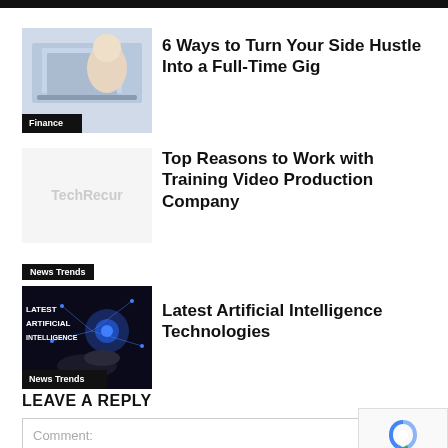[Figure (photo): Person typing on laptop, article thumbnail with Finance label]
6 Ways to Turn Your Side Hustle Into a Full-Time Gig
[Figure (logo): TechRecur placeholder thumbnail logo]
Top Reasons to Work with Training Video Production Company
News Trends
[Figure (photo): Latest Artificial Intelligence Technologies thumbnail with text overlay and News Trends label]
Latest Artificial Intelligence Technologies
LEAVE A REPLY
Comment: